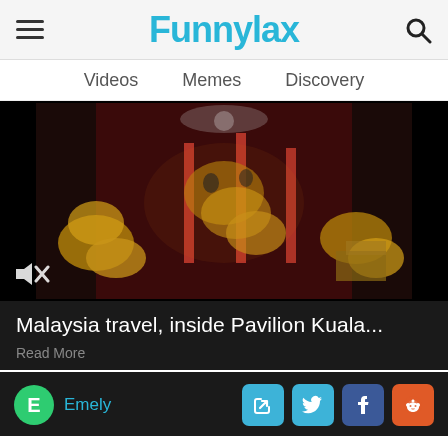Funnylax
Videos  Memes  Discovery
[Figure (photo): Interior view of Pavilion Kuala Lumpur mall decorated with golden floral arrangements and red decorations, viewed from above. A mute icon is visible in the lower left.]
Malaysia travel, inside Pavilion Kuala...
Read More
Emely